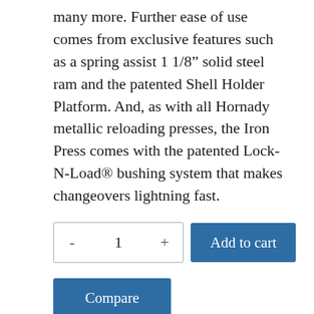many more. Further ease of use comes from exclusive features such as a spring assist 1 1/8" solid steel ram and the patented Shell Holder Platform. And, as with all Hornady metallic reloading presses, the Iron Press comes with the patented Lock-N-Load® bushing system that makes changeovers lightning fast.
- 1 + Add to cart [quantity selector and add to cart button]
Compare
Free shipping on orders over $300!
✓  Satisfaction Guaranteed